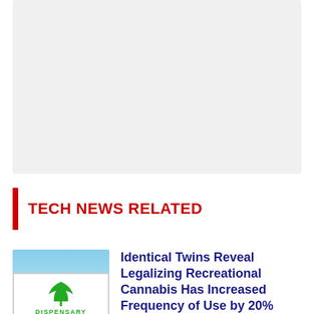[Figure (other): Gray advertisement placeholder box]
TECH NEWS RELATED
[Figure (photo): Photo of a dispensary sign with a green cannabis leaf and the word DISPENSARY in green letters against a blue sky background]
Identical Twins Reveal Legalizing Recreational Cannabis Has Increased Frequency of Use by 20%